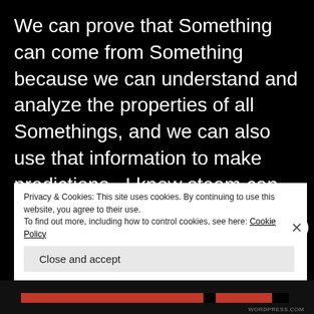We can prove that Something can come from Something because we can understand and analyze the properties of all Somethings, and we can also use that information to make predictions.  I know steam can come from boiling water, and I know that a human baby can NOT appear from boiling water.  However, I know that a human baby can come from a pregnant human female, and not from a pregnant elephant, or
Privacy & Cookies: This site uses cookies. By continuing to use this website, you agree to their use.
To find out more, including how to control cookies, see here: Cookie Policy